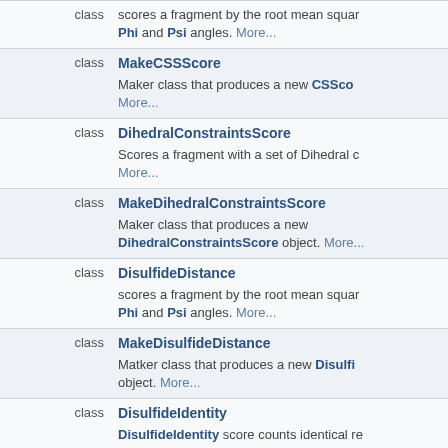| type | name/description |
| --- | --- |
| class | MakeCSSScore
Maker class that produces a new CSSCore. More... |
| class | DihedralConstraintsScore
Scores a fragment with a set of Dihedral c. More... |
| class | MakeDihedralConstraintsScore
Maker class that produces a new DihedralConstraintsScore object. More... |
| class | DisulfideDistance
scores a fragment by the root mean square Phi and Psi angles. More... |
| class | MakeDisulfideDistance
Matker class that produces a new DisulfideDistance object. More... |
| class | DisulfideIdentity
DisulfideIdentity score counts identical re. More... |
| class | MakeDisulfideIdentity
Maker class that produces a new DisulfideIdentity object. More... |
| class | FourAtomsConstraintData
Holds data about a single four-body constrform usefull for InterbondAngleScore and DihedralConstraintsScore classes. More... |
| class | FragmentAllAtomCrmsd |